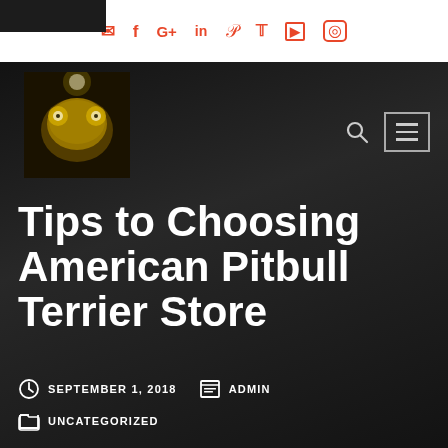Social icons: email, facebook, google+, linkedin, pinterest, twitter, youtube, instagram
[Figure (logo): Decorative golden frog/creature logo image on dark background]
Tips to Choosing American Pitbull Terrier Store
SEPTEMBER 1, 2018   ADMIN
UNCATEGORIZED